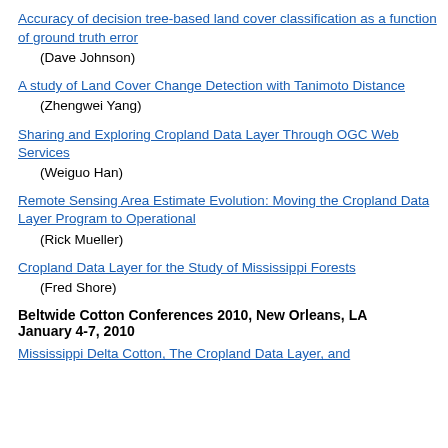Trends in American Agriculture - Operators
(Gail Wade)
Accuracy of decision tree-based land cover classification as a function of ground truth error
(Dave Johnson)
A study of Land Cover Change Detection with Tanimoto Distance
(Zhengwei Yang)
Sharing and Exploring Cropland Data Layer Through OGC Web Services
(Weiguo Han)
Remote Sensing Area Estimate Evolution: Moving the Cropland Data Layer Program to Operational
(Rick Mueller)
Cropland Data Layer for the Study of Mississippi Forests
(Fred Shore)
Beltwide Cotton Conferences 2010, New Orleans, LA January 4-7, 2010
Mississippi Delta Cotton, The Cropland Data Layer, and